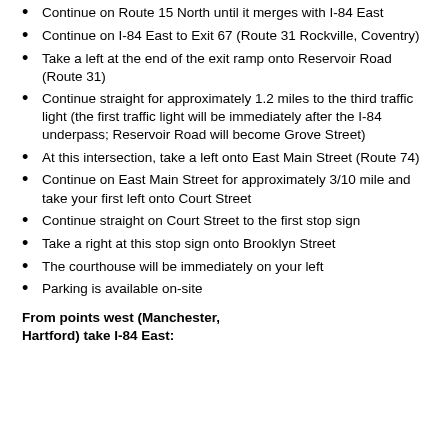Continue on Route 15 North until it merges with I-84 East
Continue on I-84 East to Exit 67 (Route 31 Rockville, Coventry)
Take a left at the end of the exit ramp onto Reservoir Road (Route 31)
Continue straight for approximately 1.2 miles to the third traffic light (the first traffic light will be immediately after the I-84 underpass; Reservoir Road will become Grove Street)
At this intersection, take a left onto East Main Street (Route 74)
Continue on East Main Street for approximately 3/10 mile and take your first left onto Court Street
Continue straight on Court Street to the first stop sign
Take a right at this stop sign onto Brooklyn Street
The courthouse will be immediately on your left
Parking is available on-site
From points west (Manchester, Hartford) take I-84 East: